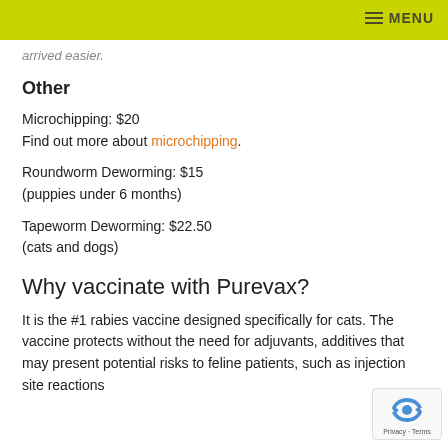MENU
arrived easier.
Other
Microchipping: $20
Find out more about microchipping.
Roundworm Deworming: $15
(puppies under 6 months)
Tapeworm Deworming: $22.50
(cats and dogs)
Why vaccinate with Purevax?
It is the #1 rabies vaccine designed specifically for cats. The vaccine protects without the need for adjuvants, additives that may present potential risks to feline patients, such as injection site reactions